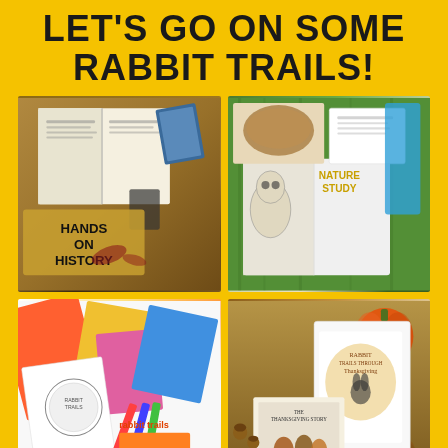LET'S GO ON SOME RABBIT TRAILS!
[Figure (photo): Books, binders and educational materials spread on a wooden table with text overlay 'HANDS ON HISTORY']
[Figure (photo): Open binder with nature study coloring page, bird books and worksheets on grass background, labeled 'NATURE STUDY']
[Figure (photo): Rabbit Trails curriculum materials, colorful papers, orange booklets and worksheets spread out]
[Figure (photo): Rabbit Trails Through Thanksgiving curriculum book, The Thanksgiving Story book, pumpkin and pine cone on wooden table]